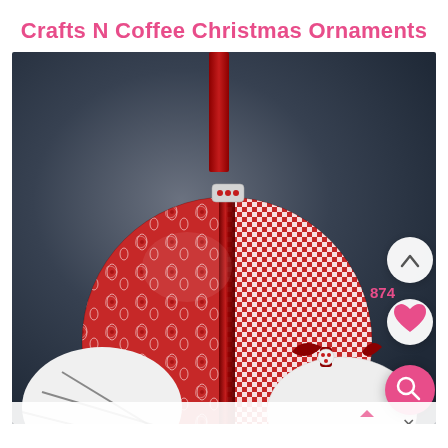Crafts N Coffee Christmas Ornaments
[Figure (photo): A decorative Christmas ornament ball covered in red paisley fabric and red-and-white gingham check fabric, divided by a dark red velvet ribbon, with a red ribbon hanger and small red and white button at top. In the lower portion of the image, two additional ornaments are partially visible: one with black-and-white plaid fabric and one with a dark red bow and button decoration. The background is dark gray/blue gradient. UI overlay buttons include an up-arrow button, a heart/like button with count 874, and a pink search button.]